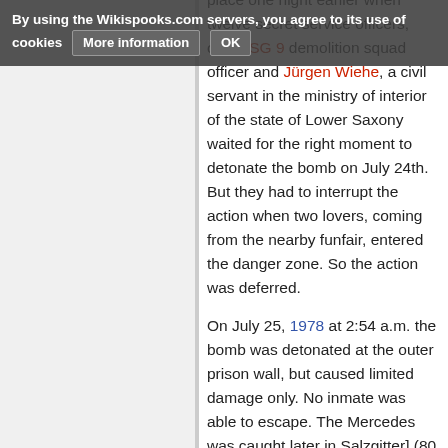By using the Wikispooks.com servers, you agree to its use of cookies   More information   OK
place one night earlier when twelve secret service officers, one GSG 9 demolition squad officer and Jürgen Wiehe, a civil servant in the ministry of interior of the state of Lower Saxony waited for the right moment to detonate the bomb on July 24th. But they had to interrupt the action when two lovers, coming from the nearby funfair, entered the danger zone. So the action was deferred.

On July 25, 1978 at 2:54 a.m. the bomb was detonated at the outer prison wall, but caused limited damage only. No inmate was able to escape. The Mercedes was caught later in Salzgitter] (80 km